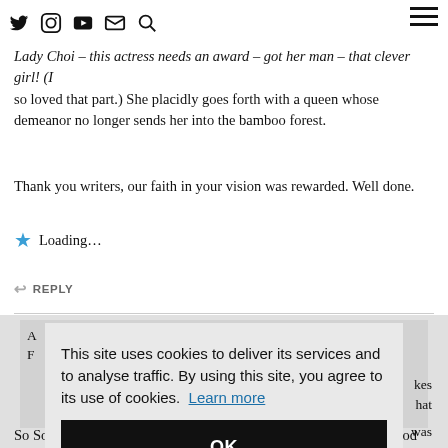Navigation bar with social icons: Twitter, Instagram, YouTube, Email, Search, and hamburger menu
Lady Choi – this actress needs an award – got her man – that clever girl! (I so loved that part.) She placidly goes forth with a queen whose demeanor no longer sends her into the bamboo forest.
Thank you writers, our faith in your vision was rewarded. Well done.
★ Loading...
↩ REPLY
A
F
I
P
b
f
S
c
So Sobong was the pertect combl of having a man and woman's good
This site uses cookies to deliver its services and to analyse traffic. By using this site, you agree to its use of cookies. Learn more
OK